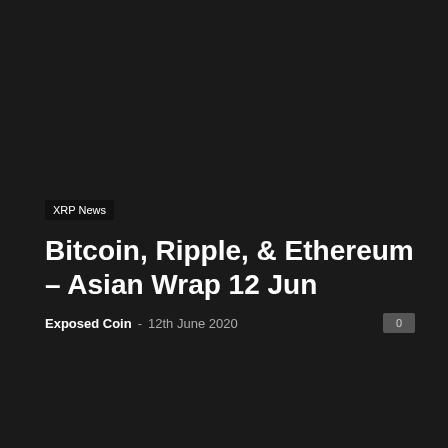XRP News
Bitcoin, Ripple, & Ethereum – Asian Wrap 12 Jun
Exposed Coin - 12th June 2020